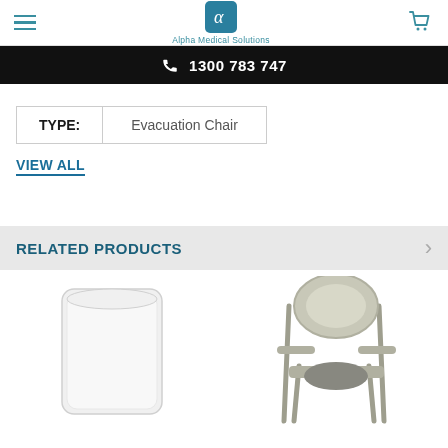Alpha Medical Solutions — 1300 783 747
| TYPE: | Evacuation Chair |
| --- | --- |
VIEW ALL
RELATED PRODUCTS
[Figure (photo): White toilet seat / lid product image]
[Figure (photo): Grey commode chair / toilet safety frame with seat product image]